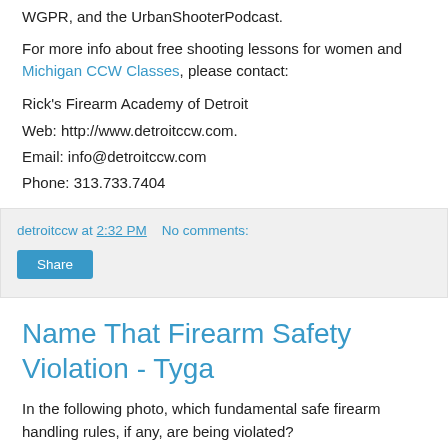WGPR, and the UrbanShooterPodcast.
For more info about free shooting lessons for women and Michigan CCW Classes, please contact:
Rick's Firearm Academy of Detroit
Web: http://www.detroitccw.com.
Email: info@detroitccw.com
Phone: 313.733.7404
detroitccw at 2:32 PM   No comments:
Share
Name That Firearm Safety Violation - Tyga
In the following photo, which fundamental safe firearm handling rules, if any, are being violated?